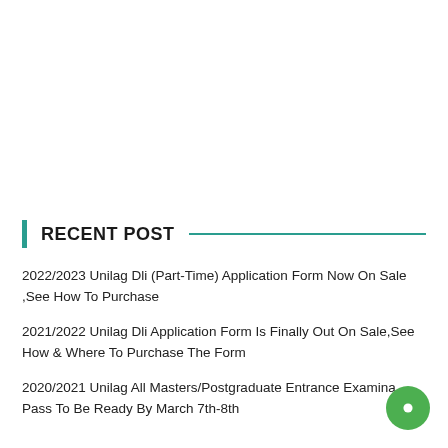RECENT POST
2022/2023 Unilag Dli (Part-Time) Application Form Now On Sale ,See How To Purchase
2021/2022 Unilag Dli Application Form Is Finally Out On Sale,See How & Where To Purchase The Form
2020/2021 Unilag All Masters/Postgraduate Entrance Examina Pass To Be Ready By March 7th-8th